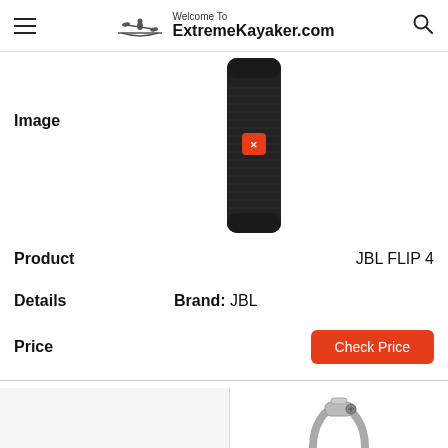Welcome To ExtremeKayaker.com
Image
[Figure (photo): JBL Flip 4 black portable Bluetooth speaker, tall cylindrical shape, standing upright with small orange JBL logo button visible]
Product — JBL FLIP 4
Details — Brand: JBL
Price — Check Price
[Figure (photo): Carabiner clip keychain accessory, silver/metal, partially visible at bottom of page]